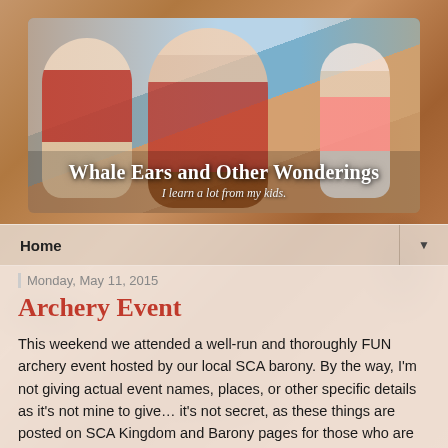[Figure (photo): Blog header banner showing children and family at archaeological ruins near the sea. Title reads 'Whale Ears and Other Wonderings' with subtitle 'I learn a lot from my kids.']
Home ▼
Monday, May 11, 2015
Archery Event
This weekend we attended a well-run and thoroughly FUN archery event hosted by our local SCA barony. By the way, I'm not giving actual event names, places, or other specific details as it's not mine to give… it's not secret, as these things are posted on SCA Kingdom and Barony pages for those who are interested in finding out more and possibly